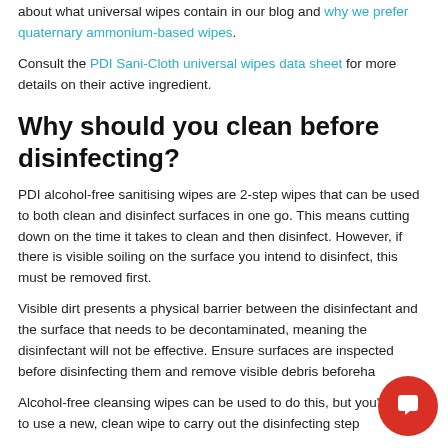about what universal wipes contain in our blog and why we prefer quaternary ammonium-based wipes.
Consult the PDI Sani-Cloth universal wipes data sheet for more details on their active ingredient.
Why should you clean before disinfecting?
PDI alcohol-free sanitising wipes are 2-step wipes that can be used to both clean and disinfect surfaces in one go. This means cutting down on the time it takes to clean and then disinfect. However, if there is visible soiling on the surface you intend to disinfect, this must be removed first.
Visible dirt presents a physical barrier between the disinfectant and the surface that needs to be decontaminated, meaning the disinfectant will not be effective. Ensure surfaces are inspected before disinfecting them and remove visible debris beforeha…
Alcohol-free cleansing wipes can be used to do this, but you'll need to use a new, clean wipe to carry out the disinfecting step